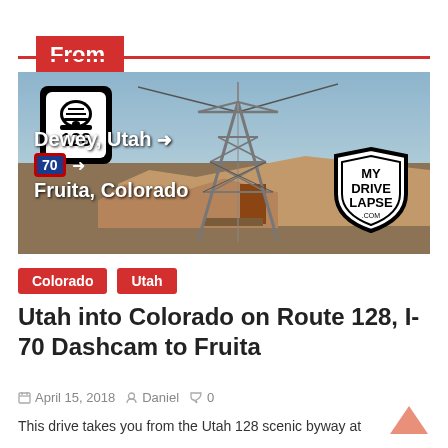From Utah:
[Figure (photo): Dashcam thumbnail image showing Utah Route 128 sign, a steel transmission tower in desert landscape, text overlay: Dewey, Utah → I-70 → Fruita, Colorado, with MyDriveLapse.com logo]
Colorado  Utah
Utah into Colorado on Route 128, I-70 Dashcam to Fruita
April 15, 2018  Daniel  0
This drive takes you from the Utah 128 scenic byway at